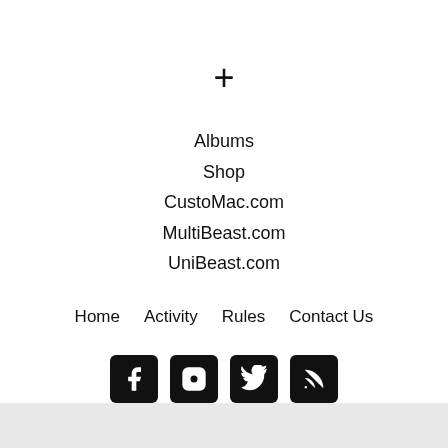+
Albums
Shop
CustoMac.com
MultiBeast.com
UniBeast.com
Home   Activity   Rules   Contact Us
[Figure (other): Social media icons: Facebook, Instagram, Twitter, RSS feed]
This site uses cookies to help personalise content, tailor your experience and to keep you logged in if you register. By continuing to use this site, you are consenting to our use of cookies.
✓ Accept   Learn more...